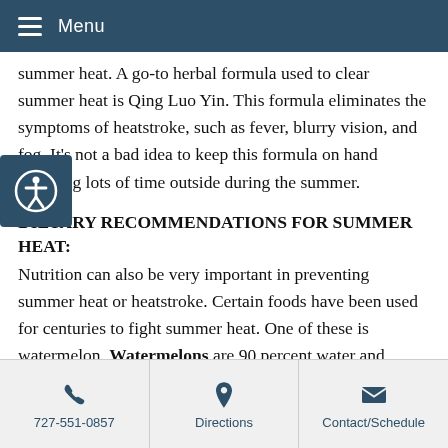Menu
summer heat. A go-to herbal formula used to clear summer heat is Qing Luo Yin. This formula eliminates the symptoms of heatstroke, such as fever, blurry vision, and fog. It's not a bad idea to keep this formula on hand spending lots of time outside during the summer.
DIETARY RECOMMENDATIONS FOR SUMMER HEAT:
Nutrition can also be very important in preventing summer heat or heatstroke. Certain foods have been used for centuries to fight summer heat. One of these is watermelon. Watermelons are 90 percent water and therefore eating it throughout the warmer summer months can help keep your core body temperature low enough that heatstroke is more preventable. Another cooling food is mint and it can be used in many summer food recipes. It is frequently added to a pitcher of water
727-551-0857 | Directions | Contact/Schedule